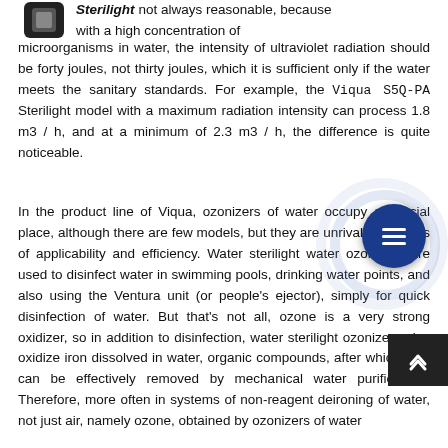not always reasonable, because with a high concentration of microorganisms in water, the intensity of ultraviolet radiation should be forty joules, not thirty joules, which it is sufficient only if the water meets the sanitary standards. For example, the Viqua S5Q-PA Sterilight model with a maximum radiation intensity can process 1.8 m3 / h, and at a minimum of 2.3 m3 / h, the difference is quite noticeable.
In the product line of Viqua, ozonizers of water occupy a special place, although there are few models, but they are unrivaled in terms of applicability and efficiency. Water sterilight water ozonizers are used to disinfect water in swimming pools, drinking water points, and also using the Ventura unit (or people's ejector), simply for quick disinfection of water. But that's not all, ozone is a very strong oxidizer, so in addition to disinfection, water sterilight ozonizers also oxidize iron dissolved in water, organic compounds, after which they can be effectively removed by mechanical water purification. Therefore, more often in systems of non-reagent deironing of water, not just air, namely ozone, obtained by ozonizers of water sterilight, are used.